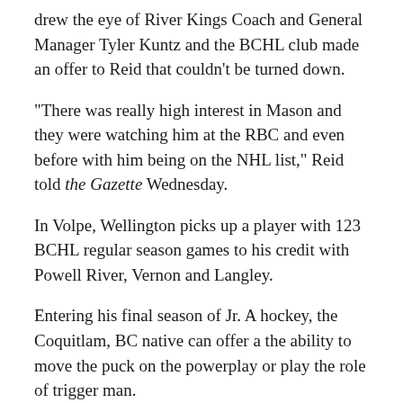drew the eye of River Kings Coach and General Manager Tyler Kuntz and the BCHL club made an offer to Reid that couldn't be turned down.
“There was really high interest in Mason and they were watching him at the RBC and even before with him being on the NHL list,” Reid told the Gazette Wednesday.
In Volpe, Wellington picks up a player with 123 BCHL regular season games to his credit with Powell River, Vernon and Langley.
Entering his final season of Jr. A hockey, the Coquitlam, BC native can offer a the ability to move the puck on the powerplay or play the role of trigger man.
“He’s got a great shot and in our conversations we feel he can be a great leader for this team and bring a strong, positive presence to the dressing room,” Reid said.